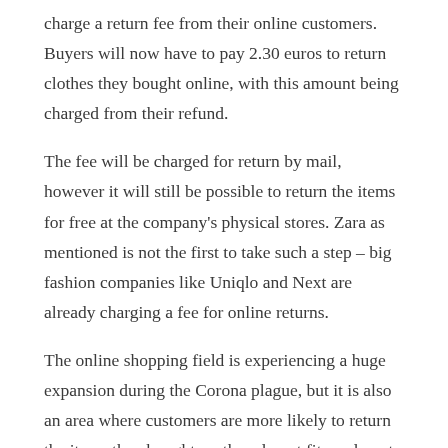charge a return fee from their online customers. Buyers will now have to pay 2.30 euros to return clothes they bought online, with this amount being charged from their refund.
The fee will be charged for return by mail, however it will still be possible to return the items for free at the company's physical stores. Zara as mentioned is not the first to take such a step – big fashion companies like Uniqlo and Next are already charging a fee for online returns.
The online shopping field is experiencing a huge expansion during the Corona plague, but it is also an area where customers are more likely to return the items they bought, as they do not fit, or do not meet their expectations –which increases costs for companies.
Analysts believe more retailers are likely to follow in Zara's footsteps and begin charging fees for returns in site...